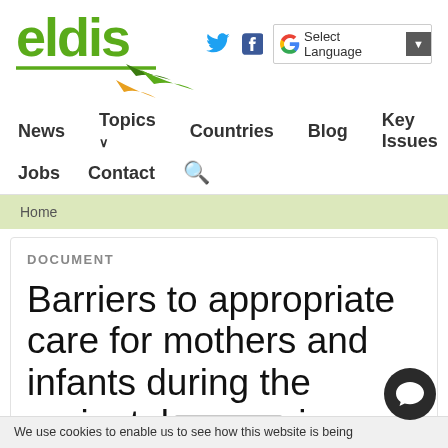eldis
News  Topics  Countries  Blog  Key Issues  Jobs  Contact
Home
DOCUMENT
Barriers to appropriate care for mothers and infants during the perinatal period in rural
We use cookies to enable us to see how this website is being used.